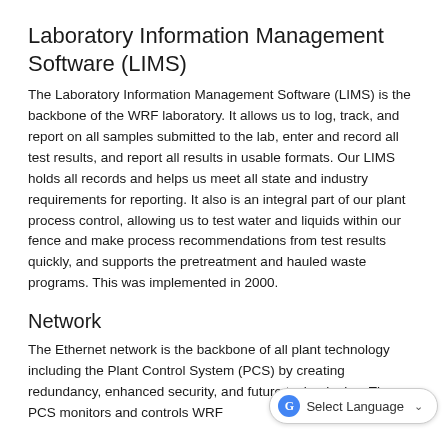Laboratory Information Management Software (LIMS)
The Laboratory Information Management Software (LIMS) is the backbone of the WRF laboratory. It allows us to log, track, and report on all samples submitted to the lab, enter and record all test results, and report all results in usable formats. Our LIMS holds all records and helps us meet all state and industry requirements for reporting. It also is an integral part of our plant process control, allowing us to test water and liquids within our fence and make process recommendations from test results quickly, and supports the pretreatment and hauled waste programs. This was implemented in 2000.
Network
The Ethernet network is the backbone of all plant technology including the Plant Control System (PCS) by creating redundancy, enhanced security, and future technologies. The PCS monitors and controls WRF